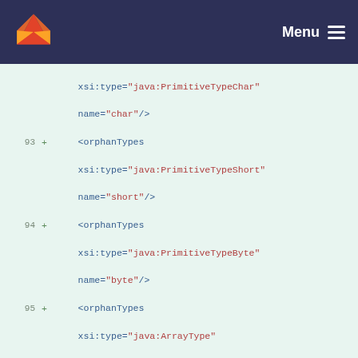Menu
[Figure (screenshot): Code diff view showing XML content with line numbers 93-98, displaying orphanTypes and elementType XML elements with Java type attributes]